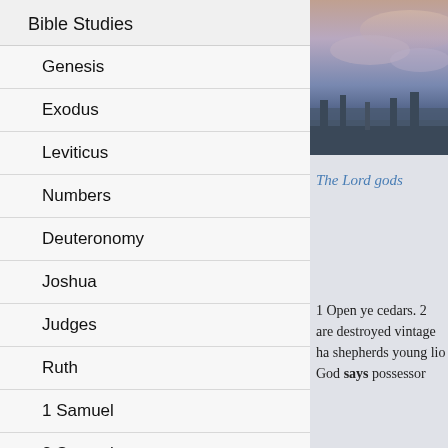Bible Studies
Genesis
Exodus
Leviticus
Numbers
Deuteronomy
Joshua
Judges
Ruth
1 Samuel
2 Samuel
1 Kings
2 Kings
[Figure (photo): Landscape photo showing sky with clouds over a dark treeline or hills]
The Lord gods
1 Open ye cedars. 2 are destroyed vintage ha shepherds young lio God says possessor